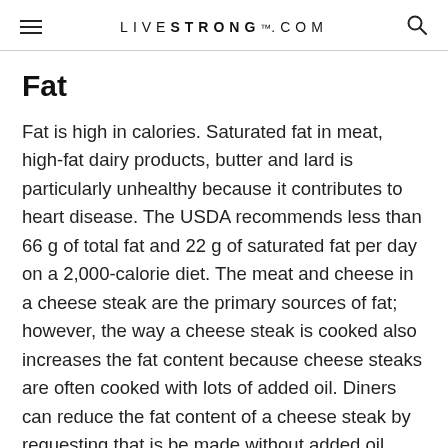LIVESTRONG.COM
Fat
Fat is high in calories. Saturated fat in meat, high-fat dairy products, butter and lard is particularly unhealthy because it contributes to heart disease. The USDA recommends less than 66 g of total fat and 22 g of saturated fat per day on a 2,000-calorie diet. The meat and cheese in a cheese steak are the primary sources of fat; however, the way a cheese steak is cooked also increases the fat content because cheese steaks are often cooked with lots of added oil. Diners can reduce the fat content of a cheese steak by requesting that is be made without added oil.